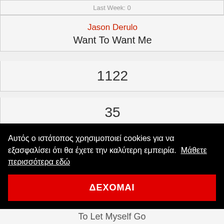Last Week: 0
Jason Derulo
Want To Want Me
1122
35
[Figure (logo): YouTube logo button, red circle with white play icon and 'You Tube' text]
Αυτός ο ιστότοπος χρησιμοποιεί cookies για να εξασφαλίσει ότι θα έχετε την καλύτερη εμπειρία.  Μάθετε περισσότερα εδώ
ΔΕΧΟΜΑΙ
To Let Myself Go